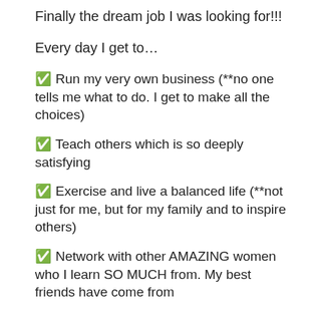Finally the dream job I was looking for!!!
Every day I get to…
✅ Run my very own business (**no one tells me what to do. I get to make all the choices)
✅ Teach others which is so deeply satisfying
✅ Exercise and live a balanced life (**not just for me, but for my family and to inspire others)
✅ Network with other AMAZING women who I learn SO MUCH from. My best friends have come from